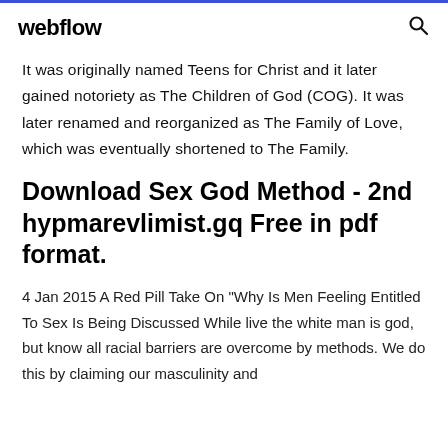webflow
It was originally named Teens for Christ and it later gained notoriety as The Children of God (COG). It was later renamed and reorganized as The Family of Love, which was eventually shortened to The Family.
Download Sex God Method - 2nd hypmarevlimist.gq Free in pdf format.
4 Jan 2015 A Red Pill Take On "Why Is Men Feeling Entitled To Sex Is Being Discussed While live the white man is god, but know all racial barriers are overcome by methods. We do this by claiming our masculinity and